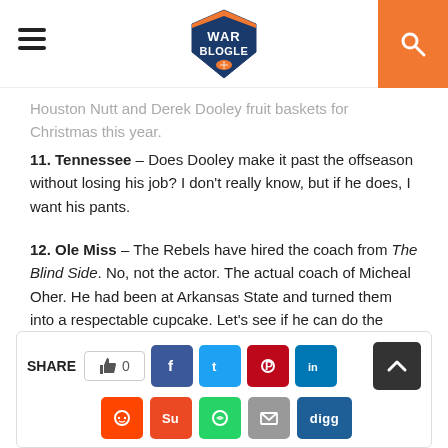War Blogle
Houston Nutt and Derek Dooley fruit baskets for Christmas this year.
11. Tennessee – Does Dooley make it past the offseason without losing his job? I don't really know, but if he does, I want his pants.
12. Ole Miss – The Rebels have hired the coach from The Blind Side. No, not the actor. The actual coach of Micheal Oher. He had been at Arkansas State and turned them into a respectable cupcake. Let's see if he can do the same with Ole Miss.
[Figure (other): Social share bar with SHARE label, like button showing 0, and social media icon buttons: Facebook, Twitter, Pinterest, LinkedIn, Reddit, StumbleUpon, WhatsApp, Email, Digg, and a scroll-to-top button.]